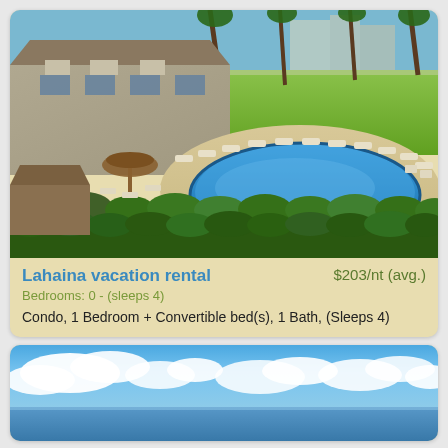[Figure (photo): Aerial/overhead view of a Hawaiian vacation rental condo with a large oval swimming pool surrounded by lounge chairs, tropical landscaping with hedges, palm trees, and a golf course in the background.]
Lahaina vacation rental
$203/nt (avg.)
Bedrooms: 0 - (sleeps 4)
Condo, 1 Bedroom + Convertible bed(s), 1 Bath, (Sleeps 4)
[Figure (photo): Beach/ocean scene with blue sky and white clouds over calm water.]